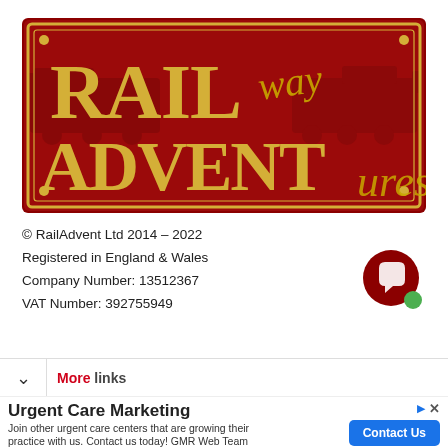[Figure (logo): Railway Adventures logo — dark red/maroon rectangular sign with gold border and corner bolts, featuring a steam locomotive silhouette. Text: 'RAILway ADVENTures' with large gold serif capitals for RAIL and ADVENT, and handwritten-style gold cursive for 'way' and 'ures'.]
© RailAdvent Ltd 2014 – 2022
Registered in England & Wales
Company Number: 13512367
VAT Number: 392755949
[Figure (other): Dark red circular chat bubble icon with a green online indicator dot.]
More links
Urgent Care Marketing
Join other urgent care centers that are growing their practice with us. Contact us today! GMR Web Team